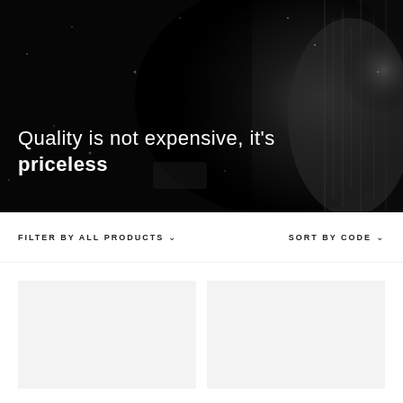[Figure (photo): Dark hero image with a close-up of a human eye or face in dramatic black and white lighting with particles/bokeh effect, serving as background for the headline text]
Quality is not expensive, it's priceless
FILTER BY ALL PRODUCTS ∨
SORT BY CODE ∨
[Figure (photo): Placeholder product card image (light gray background)]
[Figure (photo): Placeholder product card image (light gray background)]